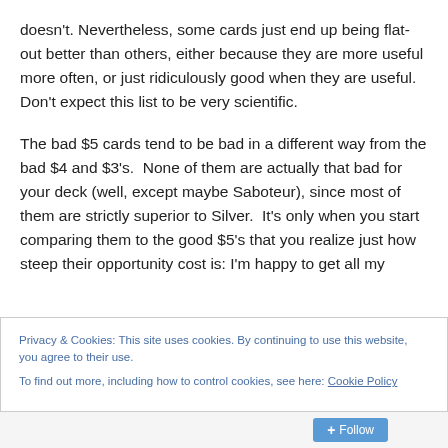doesn't. Nevertheless, some cards just end up being flat-out better than others, either because they are more useful more often, or just ridiculously good when they are useful. Don't expect this list to be very scientific.
The bad $5 cards tend to be bad in a different way from the bad $4 and $3's. None of them are actually that bad for your deck (well, except maybe Saboteur), since most of them are strictly superior to Silver. It's only when you start comparing them to the good $5's that you realize just how steep their opportunity cost is: I'm happy to get all my
Privacy & Cookies: This site uses cookies. By continuing to use this website, you agree to their use.
To find out more, including how to control cookies, see here: Cookie Policy